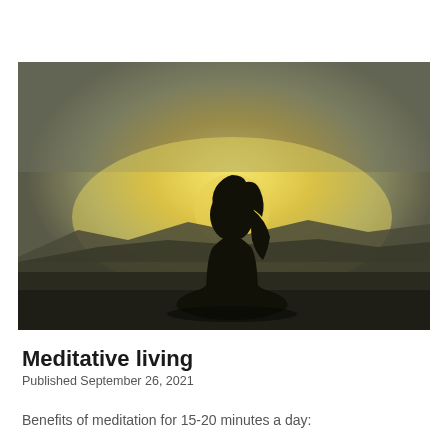[Figure (photo): Silhouette of a person sitting cross-legged in a meditation pose against a glowing sunset sky with mountain ridges in the background]
Meditative living
Published September 26, 2021
Benefits of meditation for 15-20 minutes a day: